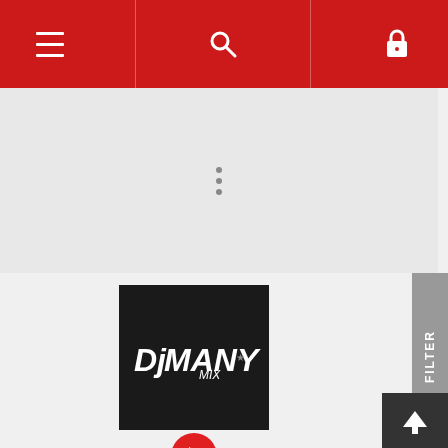[Figure (screenshot): Mobile app navigation bar with hamburger menu, search, and lock icons on red background]
[Figure (screenshot): Three vertical dots (more options) menu icon on light gray background]
[Figure (logo): DjManyMix logo - white text on black square background]
[Figure (other): Red circular play button icon]
Si La Ven Por Ahi
Luis Vargas
Bachata
145BPM
09-23-19
Intro Break
Intro
Outro
2 Versions
[Figure (other): FILTER tab on right side with funnel icon]
[Figure (other): Upload/scroll-to-top button, dark gray square with white up arrow, bottom right]